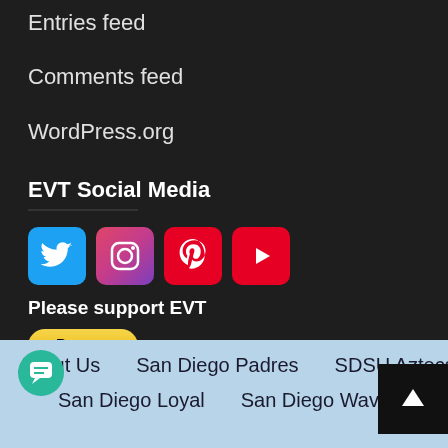Entries feed
Comments feed
WordPress.org
EVT Social Media
[Figure (infographic): Four social media icon buttons: Twitter (blue bird), Instagram (camera gradient), Pinterest (red P), YouTube (red play button)]
Please support EVT
[Figure (other): PayPal Donate button (yellow pill-shaped) and payment method icons: Visa, Mastercard, Maestro, American Express, Discover, JCB]
About Us   San Diego Padres   SDSU Aztecs   San Diego Loyal   San Diego Wave